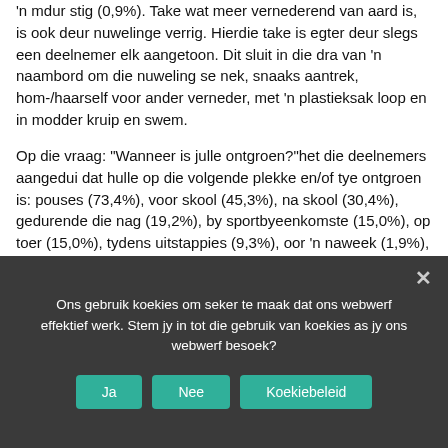'n mdur stig (0,9%). Take wat meer vernederend van aard is, is ook deur nuwelinge verrig. Hierdie take is egter deur slegs een deelnemer elk aangetoon. Dit sluit in die dra van 'n naambord om die nuweling se nek, snaaks aantrek, hom-/haarself voor ander verneder, met 'n plastieksak loop en in modder kruip en swem.
Op die vraag: "Wanneer is julle ontgroen?"het die deelnemers aangedui dat hulle op die volgende plekke en/of tye ontgroen is: pouses (73,4%), voor skool (45,3%), na skool (30,4%), gedurende die nag (19,2%), by sportbyeenkomste (15,0%), op toer (15,0%), tydens uitstappies (9,3%), oor 'n naweek (1,9%), tydens skoolure (1,4%), by die "sottekamp" (0,5%) en by die huis (0,5%).
5.3.6.2 Ontgroeningspraktyke in koshuise
Ons gebruik koekies om seker te maak dat ons webwerf effektief werk. Stem jy in tot die gebruik van koekies as jy ons webwerf besoek?